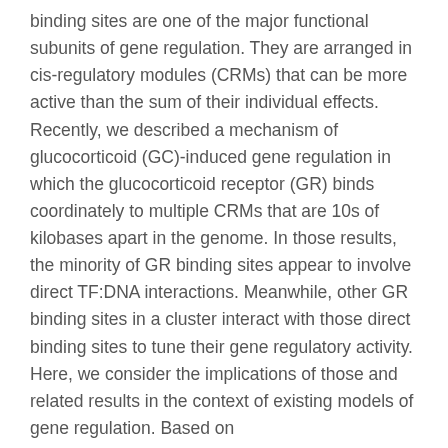binding sites are one of the major functional subunits of gene regulation. They are arranged in cis-regulatory modules (CRMs) that can be more active than the sum of their individual effects. Recently, we described a mechanism of glucocorticoid (GC)-induced gene regulation in which the glucocorticoid receptor (GR) binds coordinately to multiple CRMs that are 10s of kilobases apart in the genome. In those results, the minority of GR binding sites appear to involve direct TF:DNA interactions. Meanwhile, other GR binding sites in a cluster interact with those direct binding sites to tune their gene regulatory activity. Here, we consider the implications of those and related results in the context of existing models of gene regulation. Based on